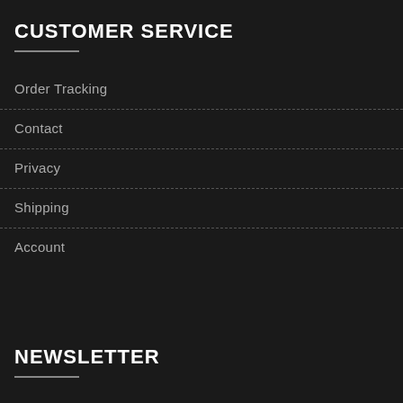CUSTOMER SERVICE
Order Tracking
Contact
Privacy
Shipping
Account
NEWSLETTER